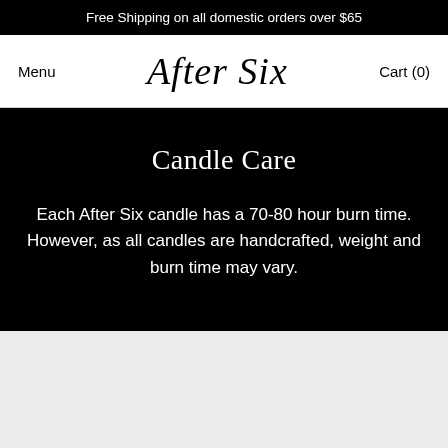Free Shipping on all domestic orders over $65
After Six
Menu
Cart (0)
Candle Care
Each After Six candle has a 70-80 hour burn time. However, as all candles are handcrafted, weight and burn time may vary.